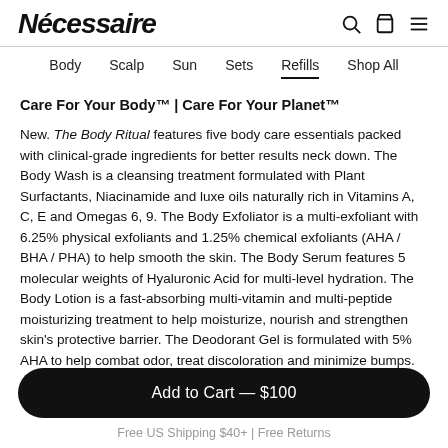Nécessaire
Body | Scalp | Sun | Sets | Refills | Shop All
Care For Your Body™ | Care For Your Planet™
New. The Body Ritual features five body care essentials packed with clinical-grade ingredients for better results neck down. The Body Wash is a cleansing treatment formulated with Plant Surfactants, Niacinamide and luxe oils naturally rich in Vitamins A, C, E and Omegas 6, 9. The Body Exfoliator is a multi-exfoliant with 6.25% physical exfoliants and 1.25% chemical exfoliants (AHA / BHA / PHA) to help smooth the skin. The Body Serum features 5 molecular weights of Hyaluronic Acid for multi-level hydration. The Body Lotion is a fast-absorbing multi-vitamin and multi-peptide moisturizing treatment to help moisturize, nourish and strengthen skin's protective barrier. The Deodorant Gel is formulated with 5% AHA to help combat odor, treat discoloration and minimize bumps.
Add to Cart — $100
Free US Shipping $40+ | Free Returns